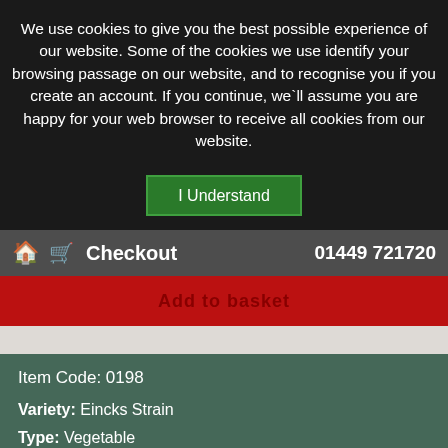We use cookies to give you the best possible experience of our website. Some of the cookies we use identify your browsing passage on our website, and to recognise you if you create an account. If you continue, we`ll assume you are happy for your web browser to receive all cookies from our website.
I Understand
🏠 🛒 Checkout   01449 721720
Add to basket
Item Code: 0198
Variety: Eincks Strain
Type: Vegetable
Packet Contains: 200 Seeds
Sow: March - July
Germination: Up to 14 days
Harvest: June - September
In stock? Yes